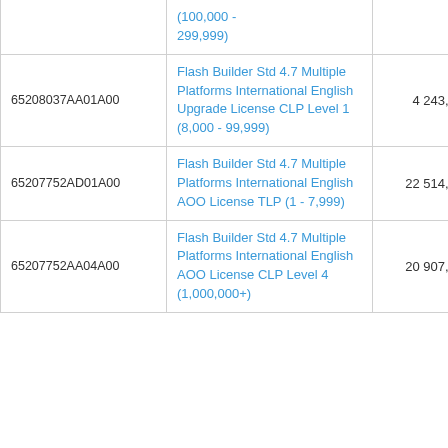| Code | Description | Price | Action |
| --- | --- | --- | --- |
|  | (100,000 - 299,999) |  |  |
| 65208037AA01A00 | Flash Builder Std 4.7 Multiple Platforms International English Upgrade License CLP Level 1 (8,000 - 99,999) | 4 243,50 | В корзину |
| 65207752AD01A00 | Flash Builder Std 4.7 Multiple Platforms International English AOO License TLP (1 - 7,999) | 22 514,40 | В корзину |
| 65207752AA04A00 | Flash Builder Std 4.7 Multiple Platforms International English AOO License CLP Level 4 (1,000,000+) | 20 907,00 | В корзину |